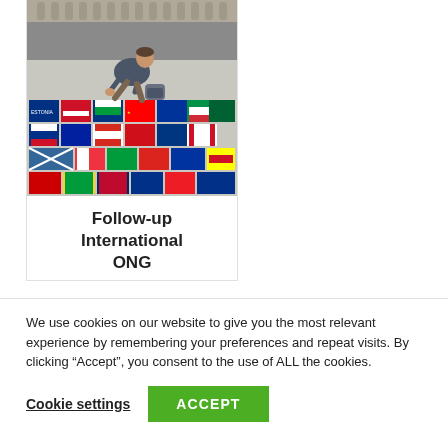[Figure (photo): A person kneeling on the ground drawing colorful national flags on pavement with chalk. The flags cover the entire ground surface in a mosaic pattern.]
Follow-up International ONG
We use cookies on our website to give you the most relevant experience by remembering your preferences and repeat visits. By clicking “Accept”, you consent to the use of ALL the cookies.
Cookie settings   ACCEPT